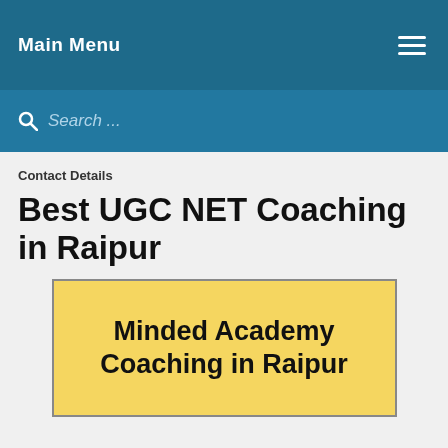Main Menu
Search ...
Contact Details
Best UGC NET Coaching in Raipur
[Figure (illustration): Yellow background box with bold text reading 'Minded Academy Coaching in Raipur']